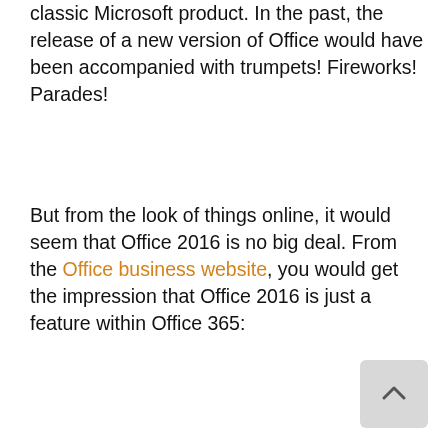classic Microsoft product. In the past, the release of a new version of Office would have been accompanied with trumpets! Fireworks! Parades!
But from the look of things online, it would seem that Office 2016 is no big deal. From the Office business website, you would get the impression that Office 2016 is just a feature within Office 365:
[Figure (other): Scroll-to-top button in bottom right corner, light grey rounded rectangle with an upward-pointing chevron arrow]